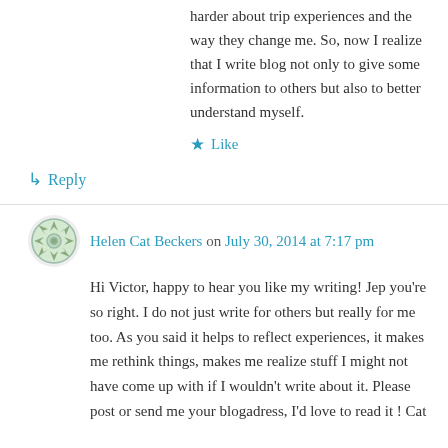harder about trip experiences and the way they change me. So, now I realize that I write blog not only to give some information to others but also to better understand myself.
★ Like
↳ Reply
Helen Cat Beckers on July 30, 2014 at 7:17 pm
Hi Victor, happy to hear you like my writing! Jep you're so right. I do not just write for others but really for me too. As you said it helps to reflect experiences, it makes me rethink things, makes me realize stuff I might not have come up with if I wouldn't write about it. Please post or send me your blogadress, I'd love to read it ! Cat